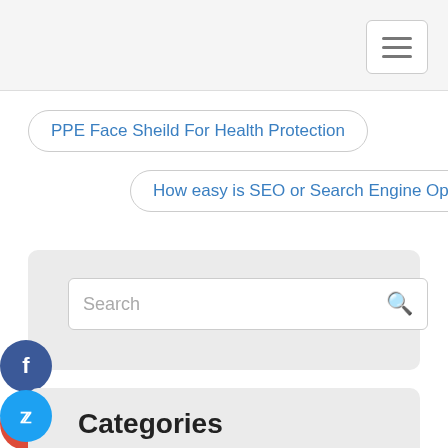Navigation bar with hamburger menu
PPE Face Sheild For Health Protection
How easy is SEO or Search Engine Optimization?
Search
Categories
Blog
Business and Management
Education
Health and Fitness
Home and Garden